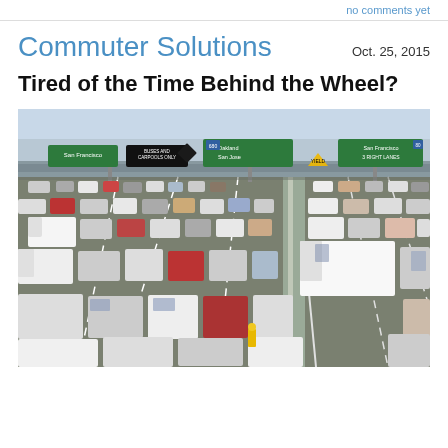no comments yet
Commuter Solutions
Oct. 25, 2015
Tired of the Time Behind the Wheel?
[Figure (photo): Aerial view of a heavily congested multi-lane freeway with dozens of vehicles including cars, trucks, and vans. Highway signs visible overhead read Oakland, San Jose, San Francisco, and other Bay Area destinations. The interchange appears to be in the San Francisco Bay Area.]